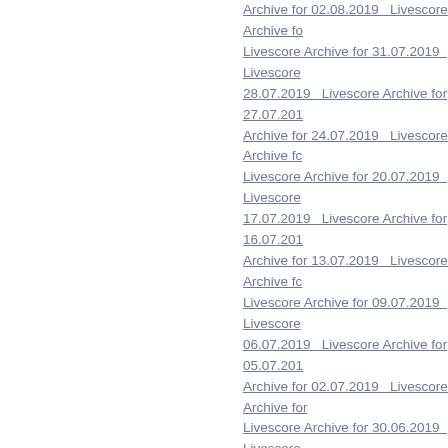Archive for 02.08.2019   Livescore Archive for
Livescore Archive for 31.07.2019   Livescore
28.07.2019   Livescore Archive for 27.07.201
Archive for 24.07.2019   Livescore Archive fc
Livescore Archive for 20.07.2019   Livescore
17.07.2019   Livescore Archive for 16.07.201
Archive for 13.07.2019   Livescore Archive fc
Livescore Archive for 09.07.2019   Livescore
06.07.2019   Livescore Archive for 05.07.201
Archive for 02.07.2019   Livescore Archive for
Livescore Archive for 30.06.2019   Livescore
27.06.2019   Livescore Archive for 26.06.201
Archive for 23.06.2019   Livescore Archive fc
Livescore Archive for 19.06.2019   Livescore
16.06.2019   Livescore Archive for 15.06.201
Archive for 12.06.2019   Livescore Archive fc
Livescore Archive for 08.06.2019   Livescore
05.06.2019   Livescore Archive for 04.06.201
Archive for 01.06.2019
Livescore Archive for 31.05.2019   Livescore
28.05.2019   Livescore Archive for 27.05.201
Archive for 24.05.2019   Livescore Archive fc
Livescore Archive for 20.05.2019   Livescore
17.05.2019   Livescore Archive for 16.05.201
Archive for 13.05.2019   Livescore Archive fc
Livescore Archive for 09.05.2019   Livescore